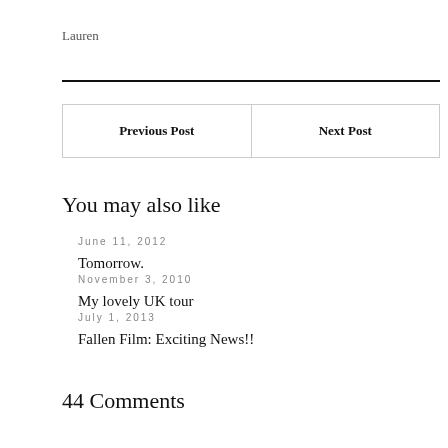Lauren
Previous Post
Next Post
You may also like
June 11, 2012
Tomorrow.
November 3, 2010
My lovely UK tour
July 1, 2013
Fallen Film: Exciting News!!
44 Comments